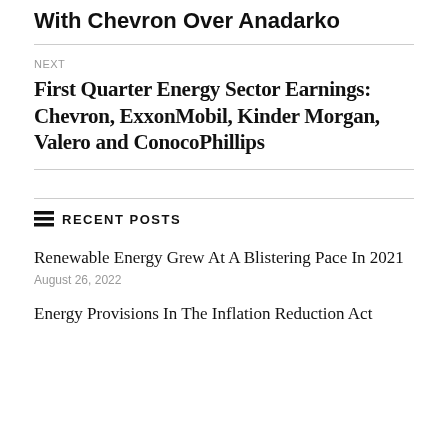With Chevron Over Anadarko
NEXT
First Quarter Energy Sector Earnings: Chevron, ExxonMobil, Kinder Morgan, Valero and ConocoPhillips
RECENT POSTS
Renewable Energy Grew At A Blistering Pace In 2021
August 26, 2022
Energy Provisions In The Inflation Reduction Act